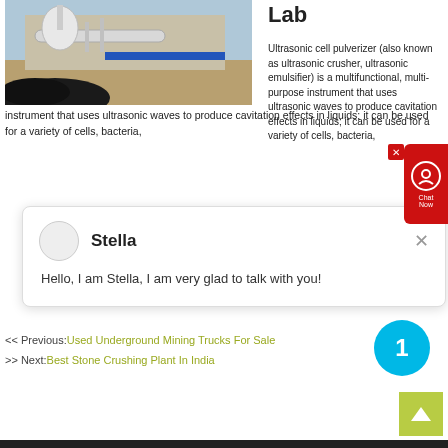[Figure (photo): Industrial plant or factory exterior with pipes, equipment, and machinery visible outdoors]
Lab
Ultrasonic cell pulverizer (also known as ultrasonic crusher, ultrasonic emulsifier) is a multifunctional, multi-purpose instrument that uses ultrasonic waves to produce cavitation effects in liquids; it can be used for a variety of cells, bacteria,
[Figure (screenshot): Chat popup with avatar and name 'Stella' and message 'Hello, I am Stella, I am very glad to talk with you!']
<< Previous: Used Underground Mining Trucks For Sale
>> Next: Best Stone Crushing Plant In India